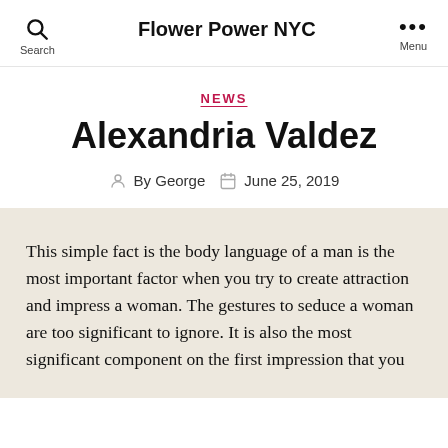Flower Power NYC
NEWS
Alexandria Valdez
By George   June 25, 2019
This simple fact is the body language of a man is the most important factor when you try to create attraction and impress a woman. The gestures to seduce a woman are too significant to ignore. It is also the most significant component on the first impression that you